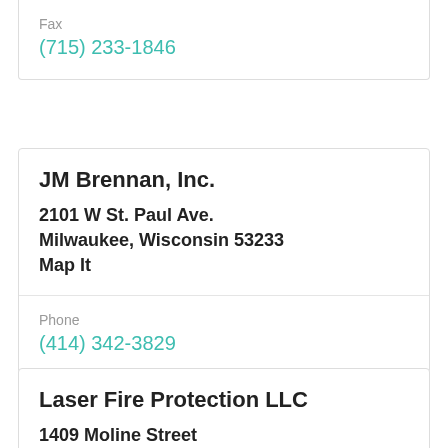Fax
(715) 233-1846
JM Brennan, Inc.
2101 W St. Paul Ave.
Milwaukee, Wisconsin 53233
Map It
Phone
(414) 342-3829
Laser Fire Protection LLC
1409 Moline Street
Stoughton, Wisconsin 53589